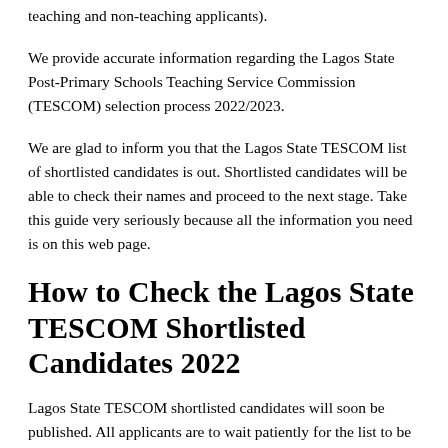teaching and non-teaching applicants).
We provide accurate information regarding the Lagos State Post-Primary Schools Teaching Service Commission (TESCOM) selection process 2022/2023.
We are glad to inform you that the Lagos State TESCOM list of shortlisted candidates is out. Shortlisted candidates will be able to check their names and proceed to the next stage. Take this guide very seriously because all the information you need is on this web page.
How to Check the Lagos State TESCOM Shortlisted Candidates 2022
Lagos State TESCOM shortlisted candidates will soon be published. All applicants are to wait patiently for the list to be published on the official recruitment portal. Also, the Lagos State Teaching Service Commission will notify all successful